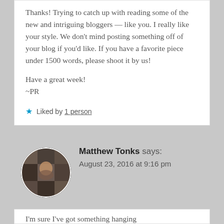Thanks! Trying to catch up with reading some of the new and intriguing bloggers — like you. I really like your style. We don't mind posting something off of your blog if you'd like. If you have a favorite piece under 1500 words, please shoot it by us!

Have a great week!
~PR
Liked by 1 person
Matthew Tonks says: August 23, 2016 at 9:16 pm
I'm sure I've got something hanging